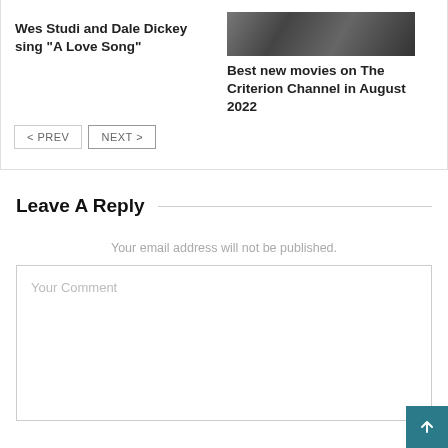[Figure (photo): Black and white photo partially visible at top right]
Wes Studi and Dale Dickey sing “A Love Song”
Best new movies on The Criterion Channel in August 2022
< PREV
NEXT >
Leave A Reply
Your email address will not be published.
Your Comment